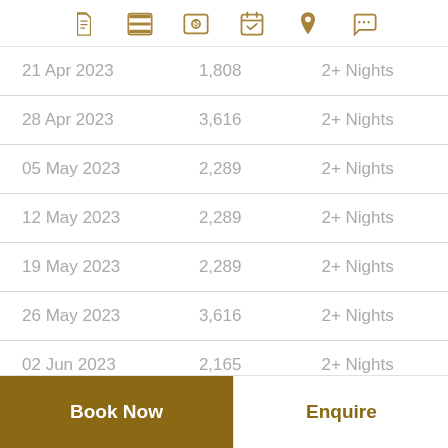navigation icons row
| Date | Price | Nights |
| --- | --- | --- |
| 21 Apr 2023 | 1,808 | 2+ Nights |
| 28 Apr 2023 | 3,616 | 2+ Nights |
| 05 May 2023 | 2,289 | 2+ Nights |
| 12 May 2023 | 2,289 | 2+ Nights |
| 19 May 2023 | 2,289 | 2+ Nights |
| 26 May 2023 | 3,616 | 2+ Nights |
| 02 Jun 2023 | 2,165 | 2+ Nights |
| 09 Jun 2023 | 2,275 | 2+ Nights |
Book Now
Enquire